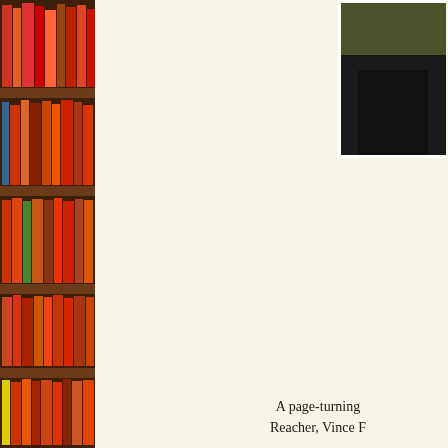[Figure (photo): Bookshelf filled with colorful books on wooden shelves, visible on the left side of the page]
[Figure (photo): Author portrait photo partially visible in the top right corner, person in dark clothing against dark background]
A page-turning Reacher, Vince F